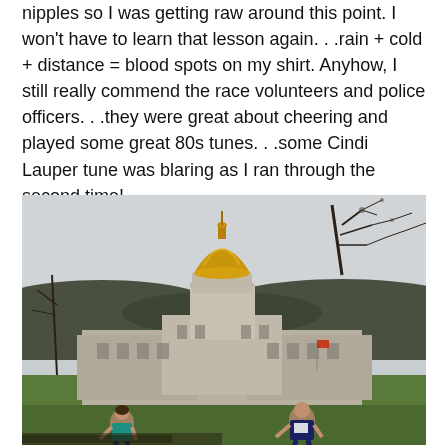nipples so I was getting raw around this point. I won't have to learn that lesson again. . .rain + cold + distance = blood spots on my shirt. Anyhow, I still really commend the race volunteers and police officers. . .they were great about cheering and played some great 80s tunes. . .some Cindi Lauper tune was blaring as I ran through the second time!
[Figure (photo): Outdoor photograph showing the West Virginia State Capitol building with its distinctive gold dome, surrounded by bare trees and green lawn. Two runners are visible in the foreground on the grass, with wooded hills in the background under an overcast gray sky.]